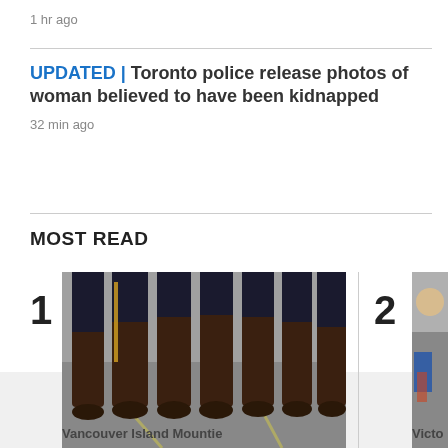1 hr ago
UPDATED | Toronto police release photos of woman believed to have been kidnapped
32 min ago
MOST READ
[Figure (photo): Photo of police officers' boots and lower legs standing in a row on pavement, item #1 in Most Read]
Vancouver Island Mountie
[Figure (photo): Partial photo, item #2 in Most Read]
Victo